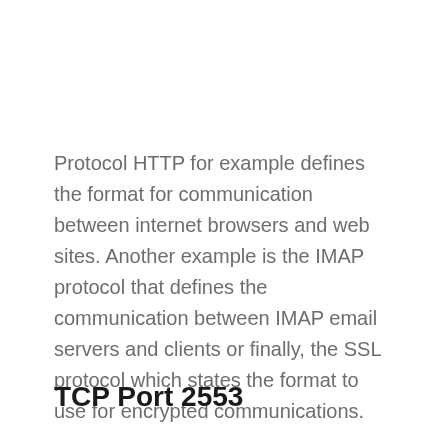Protocol HTTP for example defines the format for communication between internet browsers and web sites. Another example is the IMAP protocol that defines the communication between IMAP email servers and clients or finally, the SSL protocol which states the format to use for encrypted communications.
TCP Port 2553